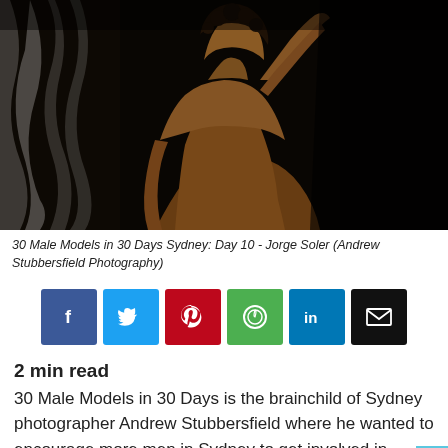[Figure (photo): Gold-painted male model with curly hair, shirtless, raising one arm to his head, posed against a dark background with white curtain on the left side. Dramatic low-key lighting.]
30 Male Models in 30 Days Sydney: Day 10 - Jorge Soler (Andrew Stubbersfield Photography)
[Figure (infographic): Row of social media share buttons: Facebook (blue), Twitter (cyan), Pinterest (red), WhatsApp (green), LinkedIn (blue), Email (black)]
2 min read
30 Male Models in 30 Days is the brainchild of Sydney photographer Andrew Stubbersfield where he wanted to encourage more men in Sydney to get involved in photo